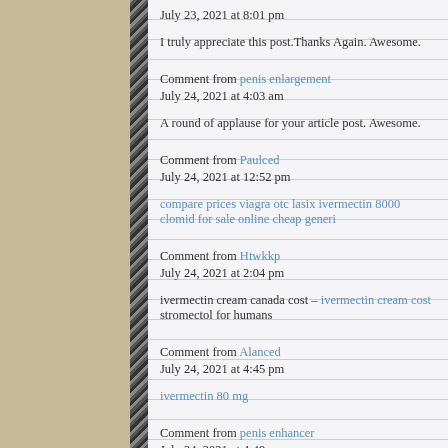July 23, 2021 at 8:01 pm
I truly appreciate this post.Thanks Again. Awesome.
Comment from penis enlargement
July 24, 2021 at 4:03 am
A round of applause for your article post. Awesome.
Comment from Paulced
July 24, 2021 at 12:52 pm
compare prices viagra otc lasix ivermectin 8000 clomid for sale online cheap generi
Comment from Htwkkp
July 24, 2021 at 2:04 pm
ivermectin cream canada cost – ivermectin cream cost stromectol for humans
Comment from Alanced
July 24, 2021 at 4:45 pm
ivermectin 80 mg
Comment from penis enhancer
July 24, 2021 at 4:49 pm
Very informative blog post. Great.
Comment from [truncated]